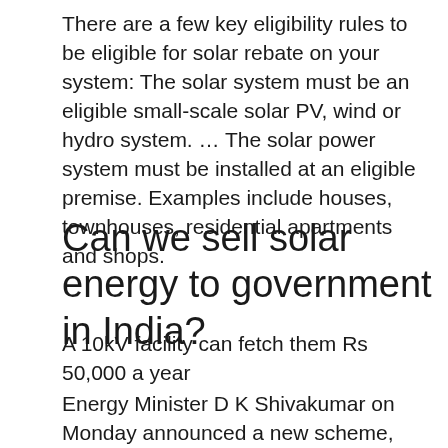There are a few key eligibility rules to be eligible for solar rebate on your system: The solar system must be an eligible small-scale solar PV, wind or hydro system. … The solar power system must be installed at an eligible premise. Examples include houses, townhouses, residential apartments and shops.
Can we sell solar energy to government in India?
A 10kV facility can fetch them Rs 50,000 a year
Energy Minister D K Shivakumar on Monday announced a new scheme, called 'Surya Raita'…